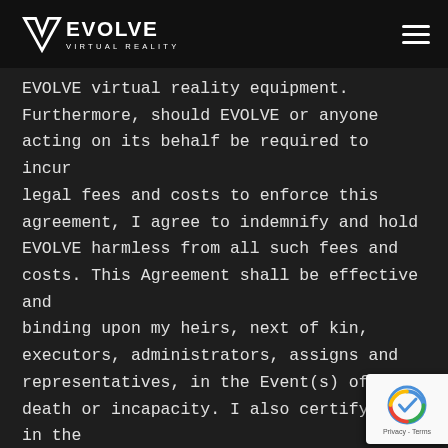EVOLVE Virtual Reality
EVOLVE virtual reality equipment. Furthermore, should EVOLVE or anyone acting on its behalf be required to incur legal fees and costs to enforce this agreement, I agree to indemnify and hold EVOLVE harmless from all such fees and costs. This Agreement shall be effective and binding upon my heirs, next of kin, executors, administrators, assigns and representatives, in the Event(s) of my death or incapacity. I also certify that in the event I am signing on behalf of a minor who is under the age of eighteen years, to whom this Media Release, Rules, Terms and